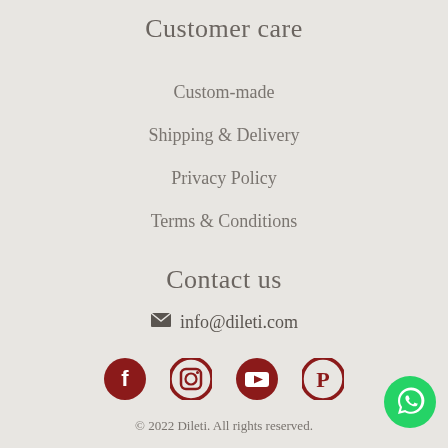Customer care
Custom-made
Shipping & Delivery
Privacy Policy
Terms & Conditions
Contact us
info@dileti.com
[Figure (other): Social media icons: Facebook, Instagram, YouTube, Pinterest (dark red circles)]
© 2022 Dileti. All rights reserved.